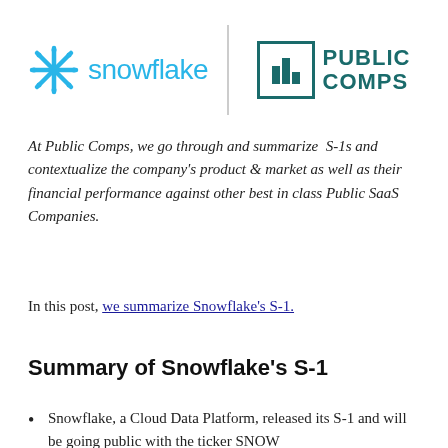[Figure (logo): Snowflake logo (blue snowflake icon and 'snowflake' text in light blue) on the left, a vertical divider line, and the Public Comps logo (teal bar-chart icon in a box with 'PUBLIC COMPS' text in teal) on the right]
At Public Comps, we go through and summarize S-1s and contextualize the company's product & market as well as their financial performance against other best in class Public SaaS Companies.
In this post, we summarize Snowflake's S-1.
Summary of Snowflake's S-1
Snowflake, a Cloud Data Platform, released its S-1 and will be going public with the ticker SNOW